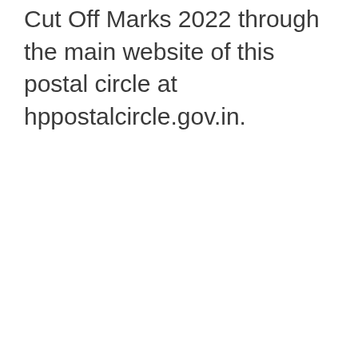Cut Off Marks 2022 through the main website of this postal circle at hppostalcircle.gov.in.